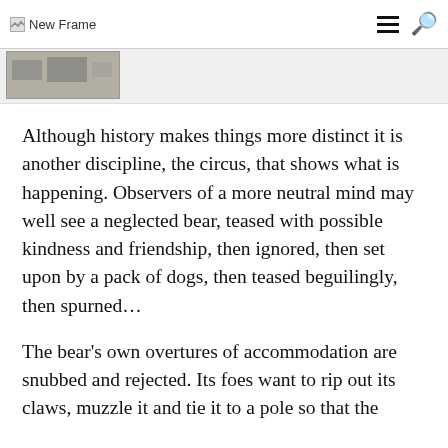New Frame
[Figure (photo): Thumbnail image strip partially visible at top of page]
Although history makes things more distinct it is another discipline, the circus, that shows what is happening. Observers of a more neutral mind may well see a neglected bear, teased with possible kindness and friendship, then ignored, then set upon by a pack of dogs, then teased beguilingly, then spurned...
The bear's own overtures of accommodation are snubbed and rejected. Its foes want to rip out its claws, muzzle it and tie it to a pole so that the